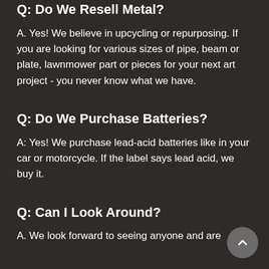Q: Do We Resell Metal?
A. Yes! We believe in upcycling or repurposing. If you are looking for various sizes of pipe, beam or plate, lawnmower part or pieces for your next art project - you never know what we have.
Q: Do We Purchase Batteries?
A: Yes! We purchase lead-acid batteries like in your car or motorcycle. If the label says lead acid, we buy it.
Q: Can I Look Around?
A. We look forward to seeing anyone and are